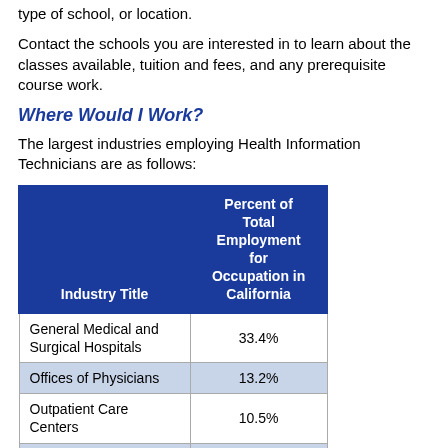type of school, or location.
Contact the schools you are interested in to learn about the classes available, tuition and fees, and any prerequisite course work.
Where Would I Work?
The largest industries employing Health Information Technicians are as follows:
| Industry Title | Percent of Total Employment for Occupation in California |
| --- | --- |
| General Medical and Surgical Hospitals | 33.4% |
| Offices of Physicians | 13.2% |
| Outpatient Care Centers | 10.5% |
| Office Administrative Services | 7.0% |